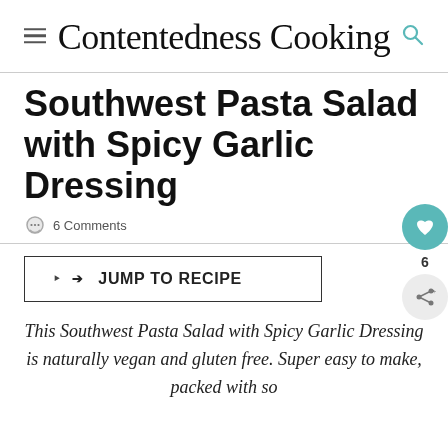Contentedness Cooking
Southwest Pasta Salad with Spicy Garlic Dressing
6 Comments
JUMP TO RECIPE
This Southwest Pasta Salad with Spicy Garlic Dressing is naturally vegan and gluten free. Super easy to make, packed with so